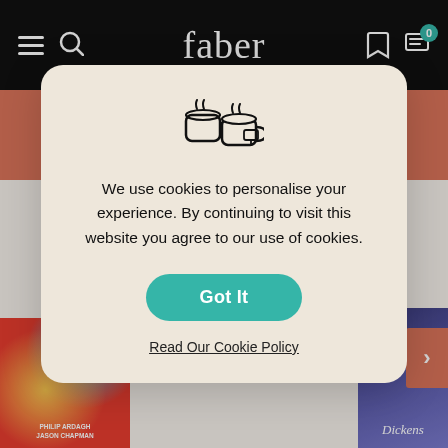faber
Read More
[Figure (screenshot): Cookie consent modal popup on Faber website showing a teacup icon, cookie consent text, Got It button, and Read Our Cookie Policy link]
We use cookies to personalise your experience. By continuing to visit this website you agree to our use of cookies.
Got It
Read Our Cookie Policy